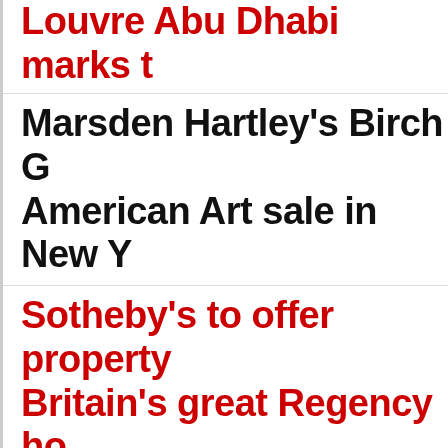Louvre Abu Dhabi marks t...
Marsden Hartley's Birch G... American Art sale in New Y...
Sotheby's to offer property... Britain's great Regency ho...
Lyon & Turnbull's MODER... spotlight on the West Corn...
Works by Margaret MacDo... Alphonse Mucha come un...